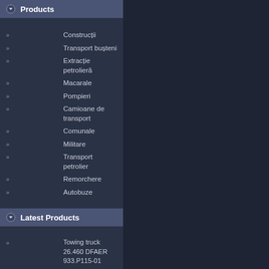Products
Construcții
Transport busteni
Extracție petrolieră
Macarale
Pompieri
Camioane de transport
Comunale
Militare
Transport petrolier
Remorchere
Autobuze
Latest Products
Towing truck 26.460 DFAER 933.P115-01
Constructions truck 18.280 FK 944.P140
Constructions truck 18.260 FK 940.P110
Log transport truck 26.260 DF 016.0058-1
Oil overhaul truck 22.310 DFA 933.P125